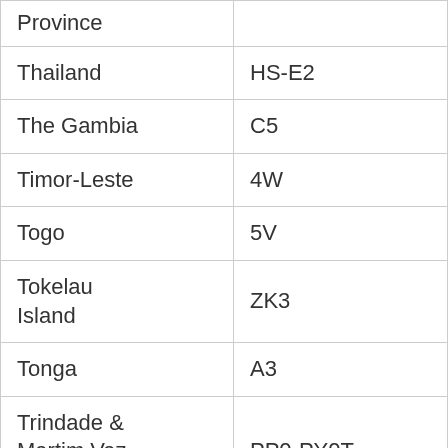| Province |  |
| --- | --- |
| Thailand | HS-E2 |
| The Gambia | C5 |
| Timor-Leste | 4W |
| Togo | 5V |
| Tokelau Island | ZK3 |
| Tonga | A3 |
| Trindade & Martim Vaz Is. | PP0-PY0T |
| Trinidad & | 9Y, 9Z |